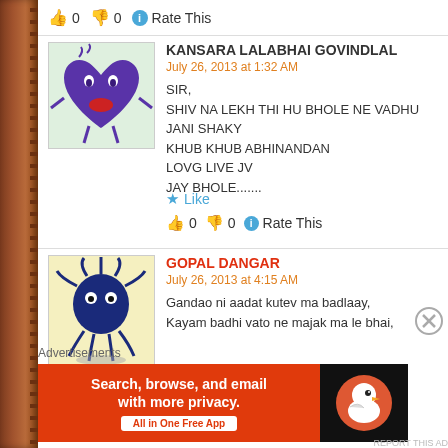👍 0 👎 0 ℹ Rate This
[Figure (illustration): Purple cartoon heart character avatar]
KANSARA LALABHAI GOVINDLAL
July 26, 2013 at 1:32 AM
SIR,
SHIV NA LEKH THI HU BHOLE NE VADHU JANI SHAKY
KHUB KHUB ABHINANDAN
LOVG LIVE JV
JAY BHOLE.......
★ Like
👍 0 👎 0 ℹ Rate This
[Figure (illustration): Dark blue cartoon octopus/spider creature avatar]
GOPAL DANGAR
July 26, 2013 at 4:15 AM
Gandao ni aadat kutev ma badlaay,
Kayam badhi vato ne majak ma le bhai,
Advertisements
[Figure (infographic): DuckDuckGo advertisement banner: Search, browse, and email with more privacy. All in One Free App]